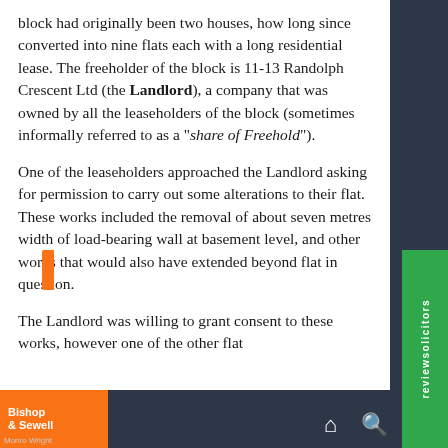block had originally been two houses, how long since converted into nine flats each with a long residential lease. The freeholder of the block is 11-13 Randolph Crescent Ltd (the Landlord), a company that was owned by all the leaseholders of the block (sometimes informally referred to as a "share of Freehold").
One of the leaseholders approached the Landlord asking for permission to carry out some alterations to their flat. These works included the removal of about seven metres width of load-bearing wall at basement level, and other works that would also have extended beyond flat in question.
The Landlord was willing to grant consent to these works, however one of the other flat